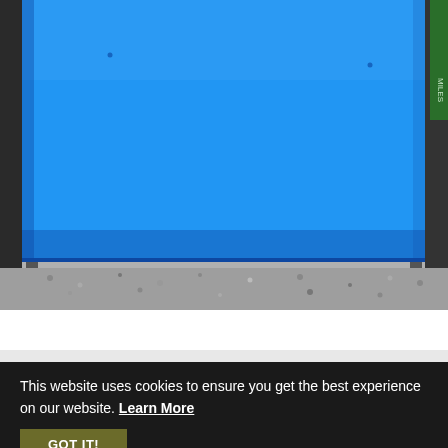[Figure (photo): Close-up photo of the bottom portion of a bright blue metal box or cabinet sitting on a gravel surface. The background shows some dark framing elements and a partial green label on the right edge.]
This website uses cookies to ensure you get the best experience on our website. Learn More
GOT IT!